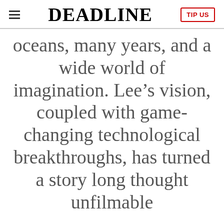DEADLINE | TIP US
oceans, many years, and a wide world of imagination. Lee’s vision, coupled with game-changing technological breakthroughs, has turned a story long thought unfilmable